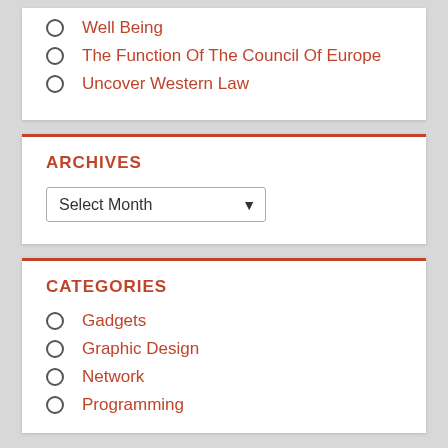Well Being
The Function Of The Council Of Europe
Uncover Western Law
ARCHIVES
Select Month
CATEGORIES
Gadgets
Graphic Design
Network
Programming